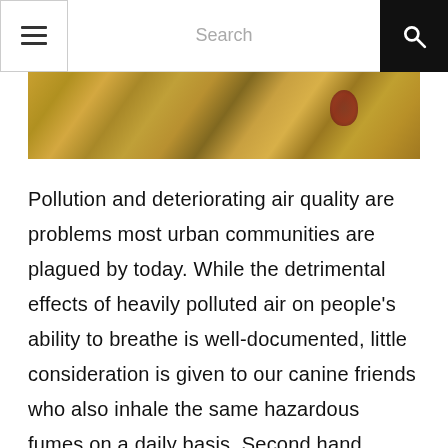Search
[Figure (photo): A strip photo showing dry golden grass/hay with a dark reddish object visible in the background]
Pollution and deteriorating air quality are problems most urban communities are plagued by today. While the detrimental effects of heavily polluted air on people's ability to breathe is well-documented, little consideration is given to our canine friends who also inhale the same hazardous fumes on a daily basis. Second hand smoke from cigarette use not only compromises human lung function, it is also extremely harmful for our